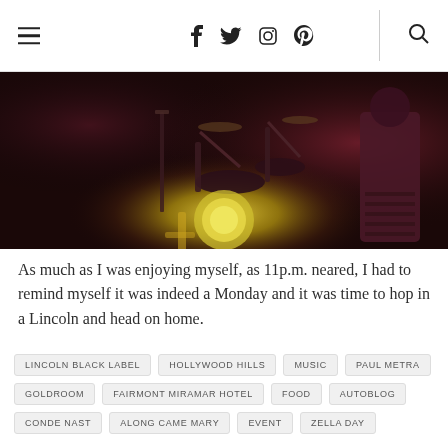nav bar with hamburger menu, social icons (f, twitter, instagram, pinterest), and search
[Figure (photo): Dark concert/event photo showing drum kit and stage lighting with a bright circular light fixture near the floor, people visible in background]
As much as I was enjoying myself, as 11p.m. neared, I had to remind myself it was indeed a Monday and it was time to hop in a Lincoln and head on home.
LINCOLN BLACK LABEL
HOLLYWOOD HILLS
MUSIC
PAUL METRA
GOLDROOM
FAIRMONT MIRAMAR HOTEL
FOOD
AUTOBLOG
CONDE NAST
ALONG CAME MARY
EVENT
ZELLA DAY